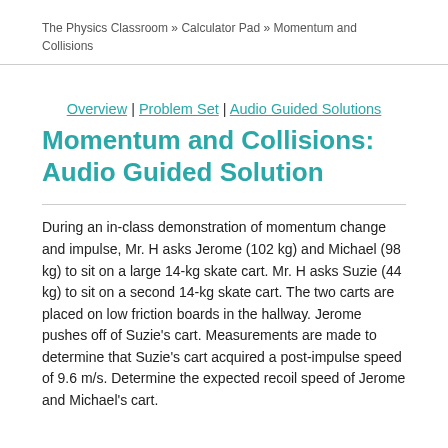The Physics Classroom » Calculator Pad » Momentum and Collisions
Overview | Problem Set | Audio Guided Solutions
Momentum and Collisions: Audio Guided Solution
During an in-class demonstration of momentum change and impulse, Mr. H asks Jerome (102 kg) and Michael (98 kg) to sit on a large 14-kg skate cart. Mr. H asks Suzie (44 kg) to sit on a second 14-kg skate cart. The two carts are placed on low friction boards in the hallway. Jerome pushes off of Suzie's cart. Measurements are made to determine that Suzie's cart acquired a post-impulse speed of 9.6 m/s. Determine the expected recoil speed of Jerome and Michael's cart.